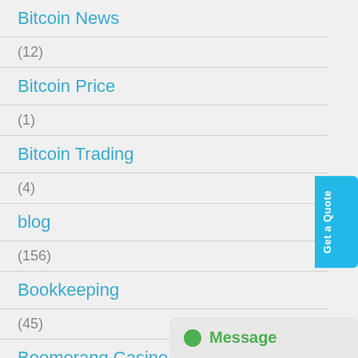Bitcoin News
(12)
Bitcoin Price
(1)
Bitcoin Trading
(4)
blog
(156)
Bookkeeping
(45)
Boomerang Casino
(1)
brides